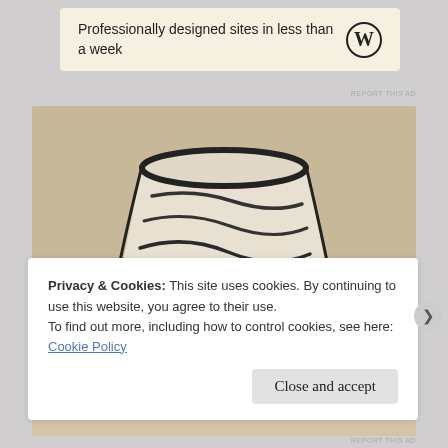[Figure (other): WordPress advertisement banner with beige background showing text 'Professionally designed sites in less than a week' and WordPress logo]
REPORT THIS AD
[Figure (photo): Sepia-toned photograph of a ceramic cup/mug with black swirling brush-stroke pattern and a card tucked into it reading 'In this Style']
Privacy & Cookies: This site uses cookies. By continuing to use this website, you agree to their use.
To find out more, including how to control cookies, see here: Cookie Policy
Close and accept